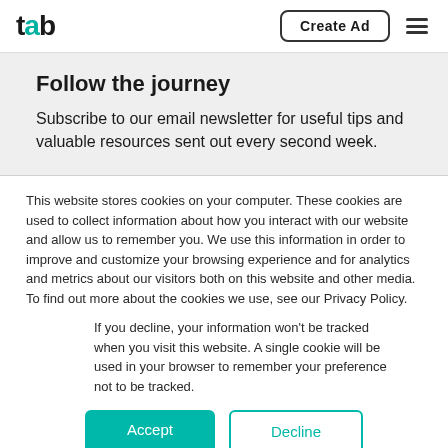tab | Create Ad
Follow the journey
Subscribe to our email newsletter for useful tips and valuable resources sent out every second week.
This website stores cookies on your computer. These cookies are used to collect information about how you interact with our website and allow us to remember you. We use this information in order to improve and customize your browsing experience and for analytics and metrics about our visitors both on this website and other media. To find out more about the cookies we use, see our Privacy Policy.
If you decline, your information won’t be tracked when you visit this website. A single cookie will be used in your browser to remember your preference not to be tracked.
Accept | Decline